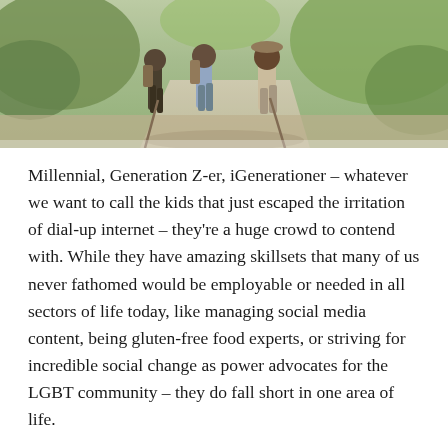[Figure (photo): Three people walking on a path outdoors, viewed from behind, in a natural wooded setting. They appear to be hikers or children walking together.]
Millennial, Generation Z-er, iGenerationer – whatever we want to call the kids that just escaped the irritation of dial-up internet – they're a huge crowd to contend with. While they have amazing skillsets that many of us never fathomed would be employable or needed in all sectors of life today, like managing social media content, being gluten-free food experts, or striving for incredible social change as power advocates for the LGBT community – they do fall short in one area of life.
That, my friends, is knowing how the following 15  things work – not because young Millennials couldn't go and learn them, but because most of these products or lifestyle preferences simply don't exist anymore and have given way to more technologically advanced options.